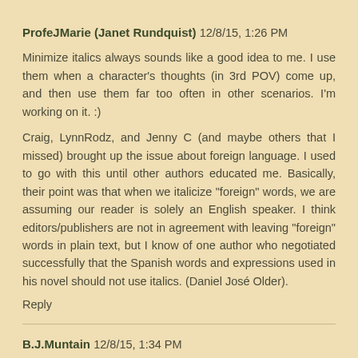ProfeJMarie (Janet Rundquist) 12/8/15, 1:26 PM
Minimize italics always sounds like a good idea to me. I use them when a character's thoughts (in 3rd POV) come up, and then use them far too often in other scenarios. I'm working on it. :)
Craig, LynnRodz, and Jenny C (and maybe others that I missed) brought up the issue about foreign language. I used to go with this until other authors educated me. Basically, their point was that when we italicize "foreign" words, we are assuming our reader is solely an English speaker. I think editors/publishers are not in agreement with leaving "foreign" words in plain text, but I know of one author who negotiated successfully that the Spanish words and expressions used in his novel should not use italics. (Daniel José Older).
Reply
B.J.Muntain 12/8/15, 1:34 PM